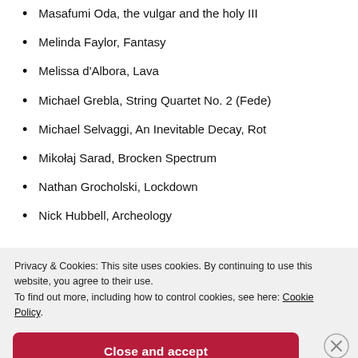Masafumi Oda, the vulgar and the holy III
Melinda Faylor, Fantasy
Melissa d'Albora, Lava
Michael Grebla, String Quartet No. 2 (Fede)
Michael Selvaggi, An Inevitable Decay, Rot
Mikołaj Sarad, Brocken Spectrum
Nathan Grocholski, Lockdown
Nick Hubbell, Archeology
Privacy & Cookies: This site uses cookies. By continuing to use this website, you agree to their use. To find out more, including how to control cookies, see here: Cookie Policy
Close and accept